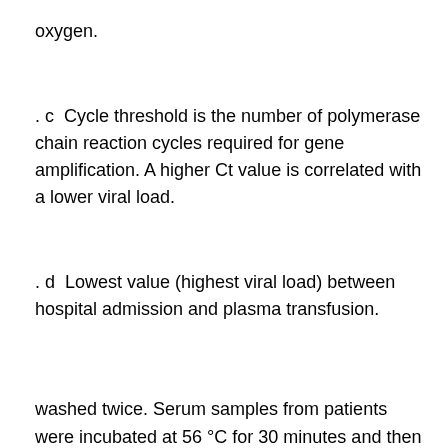oxygen.
. c  Cycle threshold is the number of polymerase chain reaction cycles required for gene amplification. A higher Ct value is correlated with a lower viral load.
. d  Lowest value (highest viral load) between hospital admission and plasma transfusion.
washed twice. Serum samples from patients were incubated at 56 °C for 30 minutes and then diluted 2-fold in cell culture medium (modified eagle medium). Aliquots (40 μL) of di- luted serum samples (from 2-fold to 2056-fold) were added to 50 μL of cell culture medium containing 50 times the tissue culture infective dose (TCID50) of the BetaCoV/Shenzhen/ SZTH-003/2020